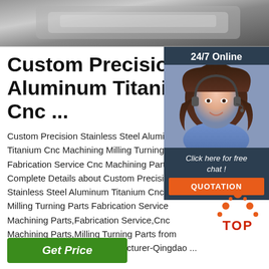[Figure (photo): Close-up photo of machined metal parts, showing polished steel/aluminum surface]
Custom Precision Stainless Steel Aluminum Titanium Cnc ...
Custom Precision Stainless Steel Aluminum Titanium Cnc Machining Milling Turning Parts Fabrication Service Cnc Machining Parts, Complete Details about Custom Precision Stainless Steel Aluminum Titanium Cnc Machining Milling Turning Parts Fabrication Service Cnc Machining Parts,Fabrication Service,Cnc Machining Parts,Milling Turning Parts from Machining Supplier or Manufacturer-Qingdao ...
[Figure (photo): Customer service agent - woman with headset smiling, with 24/7 Online label and Click here for free chat / QUOTATION button overlay]
[Figure (logo): TOP logo with orange dots arranged in triangle above red TOP text]
Get Price